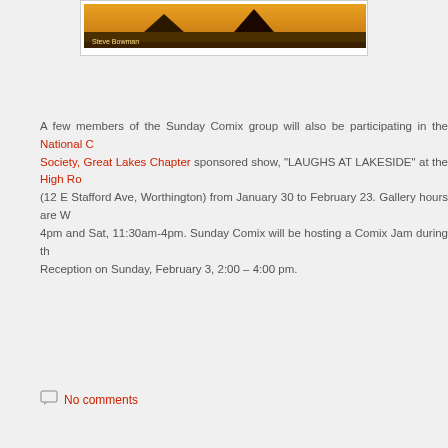[Figure (photo): Artwork/illustration with orange and dark background, partially visible at top of page, with text 'Steve Bowman' visible]
A few members of the Sunday Comix group will also be participating in the National Cartoonists Society, Great Lakes Chapter sponsored show, "LAUGHS AT LAKESIDE" at the High Road (12 E Stafford Ave, Worthington) from January 30 to February 23. Gallery hours are W-F 11am-4pm and Sat, 11:30am-4pm. Sunday Comix will be hosting a Comix Jam during the Opening Reception on Sunday, February 3, 2:00 – 4:00 pm.
No comments